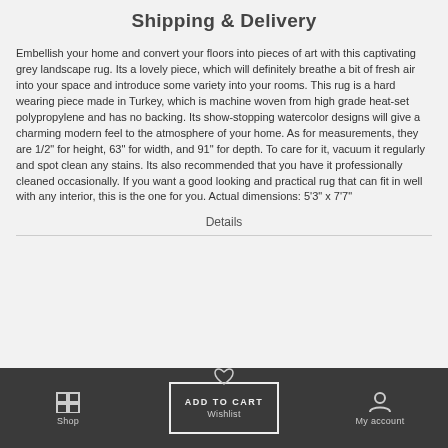Shipping & Delivery
Embellish your home and convert your floors into pieces of art with this captivating grey landscape rug. Its a lovely piece, which will definitely breathe a bit of fresh air into your space and introduce some variety into your rooms. This rug is a hard wearing piece made in Turkey, which is machine woven from high grade heat-set polypropylene and has no backing. Its show-stopping watercolor designs will give a charming modern feel to the atmosphere of your home. As for measurements, they are 1/2" for height, 63" for width, and 91" for depth. To care for it, vacuum it regularly and spot clean any stains. Its also recommended that you have it professionally cleaned occasionally. If you want a good looking and practical rug that can fit in well with any interior, this is the one for you. Actual dimensions: 5'3" x 7'7"
Details
Shop | ADD TO CART / Wishlist | My account